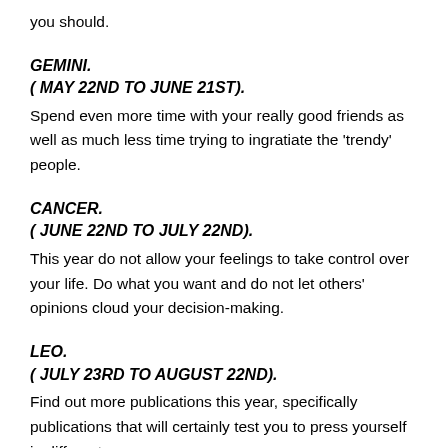you should.
GEMINI.
( MAY 22ND TO JUNE 21ST).
Spend even more time with your really good friends as well as much less time trying to ingratiate the 'trendy' people.
CANCER.
( JUNE 22ND TO JULY 22ND).
This year do not allow your feelings to take control over your life. Do what you want and do not let others' opinions cloud your decision-making.
LEO.
( JULY 23RD TO AUGUST 22ND).
Find out more publications this year, specifically publications that will certainly test you to press yourself in different ways.